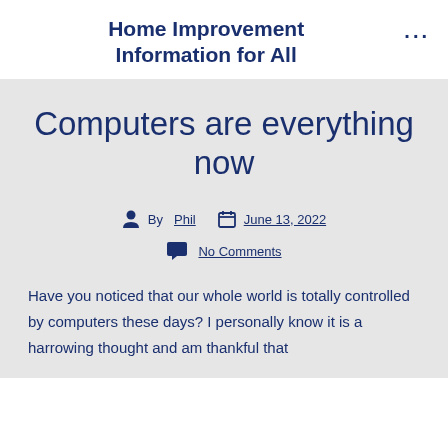Home Improvement Information for All
Computers are everything now
By Phil   June 13, 2022   No Comments
Have you noticed that our whole world is totally controlled by computers these days? I personally know it is a harrowing thought and am thankful that